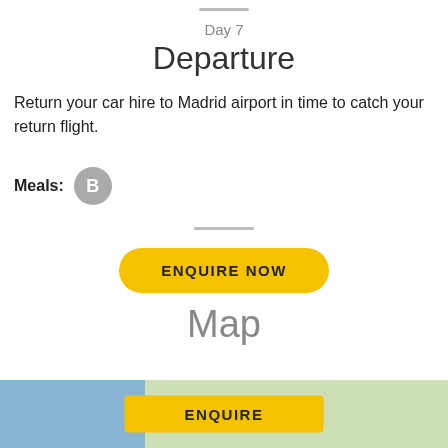Day 7
Departure
Return your car hire to Madrid airport in time to catch your return flight.
Meals: B
[Figure (other): Yellow pill-shaped ENQUIRE NOW button]
Map
[Figure (map): Partial map showing Porto and surrounding region with blue water area on left, green land area, and a yellow ENQUIRE button overlay]